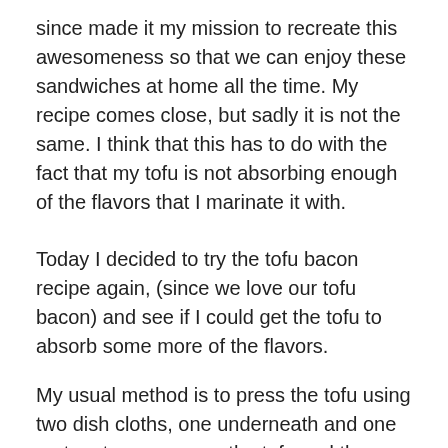since made it my mission to recreate this awesomeness so that we can enjoy these sandwiches at home all the time. My recipe comes close, but sadly it is not the same. I think that this has to do with the fact that my tofu is not absorbing enough of the flavors that I marinate it with.
Today I decided to try the tofu bacon recipe again, (since we love our tofu bacon) and see if I could get the tofu to absorb some more of the flavors.
My usual method is to press the tofu using two dish cloths, one underneath and one on top, to wrap cover the tofu and then stack some heavy books on top and leave it for 30-60 minutes to press out the water.
This works to a degree, but I still find the tofu has water in